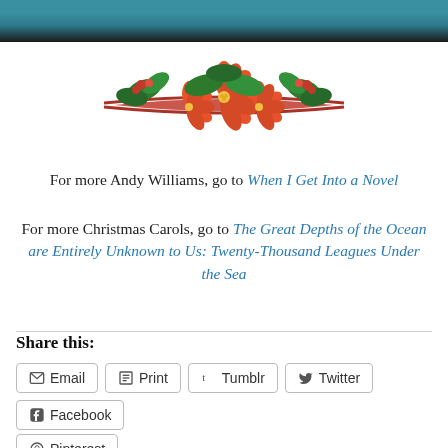[Figure (photo): Top portion of a photo showing a person in a teal/turquoise shawl with an orange top and necklace]
[Figure (illustration): Decorative Christmas floral divider with holly, poinsettias, and red ribbon banner]
For more Andy Williams, go to When I Get Into a Novel
For more Christmas Carols, go to The Great Depths of the Ocean are Entirely Unknown to Us: Twenty-Thousand Leagues Under the Sea
Share this:
Email
Print
Tumblr
Twitter
Facebook
Pinterest